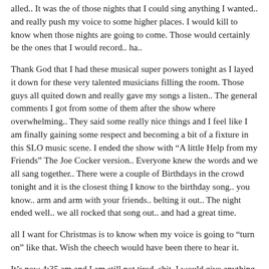alled.. It was the of those nights that I could sing anything I wanted.. and really push my voice to some higher places. I would kill to know when those nights are going to come. Those would certainly be the ones that I would record.. ha..
Thank God that I had these musical super powers tonight as I layed it down for these very talented musicians filling the room. Those guys all quited down and really gave my songs a listen.. The general comments I got from some of them after the show where overwhelming.. They said some really nice things and I feel like I am finally gaining some respect and becoming a bit of a fixture in this SLO music scene. I ended the show with “A little Help from my Friends” The Joe Cocker version.. Everyone knew the words and we all sang together.. There were a couple of Birthdays in the crowd tonight and it is the closest thing I know to the birthday song.. you know.. arm and arm with your friends.. belting it out.. The night ended well.. we all rocked that song out.. and had a great time.
all I want for Christmas is to know when my voice is going to “turn on” like that. Wish the cheech would have been there to hear it.
It’s now 4:35 am and I am still not tired. shit. I would give anything to be a REAL musician.. and just sleep in, get ready for the next gig.. etc..